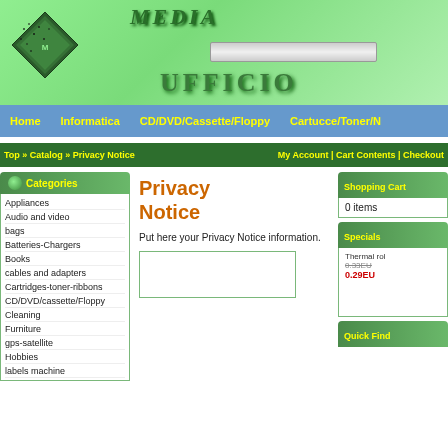[Figure (screenshot): Website header with green gradient background, diamond logo graphic, MEDIA text, search bar, and UFFICIO text]
Home | Informatica | CD/DVD/Cassette/Floppy | Cartucce/Toner/N
Top » Catalog » Privacy Notice    My Account | Cart Contents | Checkout
Categories
Appliances
Audio and video
bags
Batteries-Chargers
Books
cables and adapters
Cartridges-toner-ribbons
CD/DVD/cassette/Floppy
Cleaning
Furniture
gps-satellite
Hobbies
labels machine
Privacy Notice
Put here your Privacy Notice information.
Shopping Cart
0 items
Specials
Thermal rol 0.33EU 0.29EU
Quick Find